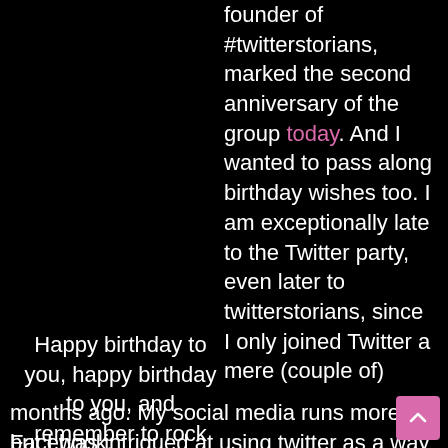founder of #twitterstorians, marked the second anniversary of the group today. And I wanted to pass along birthday wishes too. I am exceptionally late to the Twitter party, even later to twitterstorians, since I only joined Twitter a mere (couple of) months ago. My social media runs more Facebook, but I was intrigued at using twitter as a way to more
Happy birthday to you, happy birthday to you, and remember to rock out!